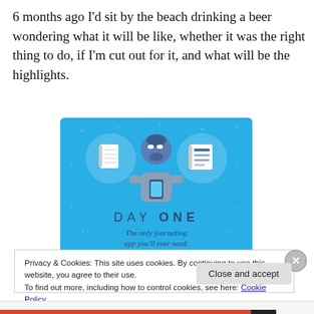6 months ago I'd sit by the beach drinking a beer wondering what it will be like, whether it was the right thing to do, if I'm cut out for it, and what will be the highlights.
[Figure (illustration): Day One journaling app promotional image on a blue background. Shows a cartoon man holding a phone, flanked by two circular icons — a blank notebook on the left and a lined notebook on the right. Text reads 'DAY ONE' and 'The only journaling app you'll ever need.']
Privacy & Cookies: This site uses cookies. By continuing to use this website, you agree to their use.
To find out more, including how to control cookies, see here: Cookie Policy
Close and accept